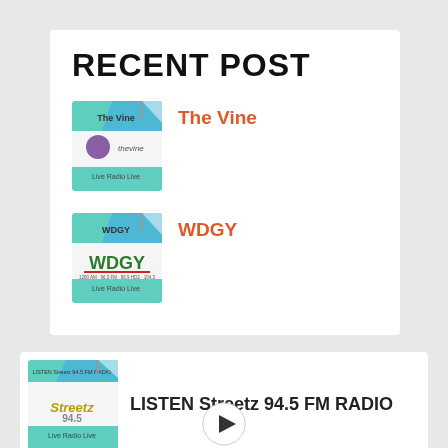RECENT POST
[Figure (logo): The Vine radio station thumbnail with purple logo and teal banner]
The Vine
[Figure (logo): WDGY radio station thumbnail with green/red logo and teal banner]
WDGY
[Figure (logo): LISTEN Streetz 94.5 FM RADIO thumbnail with yellow/black logo and teal banner]
LISTEN Streetz 94.5 FM RADIO
[Figure (other): Play button triangle icon]